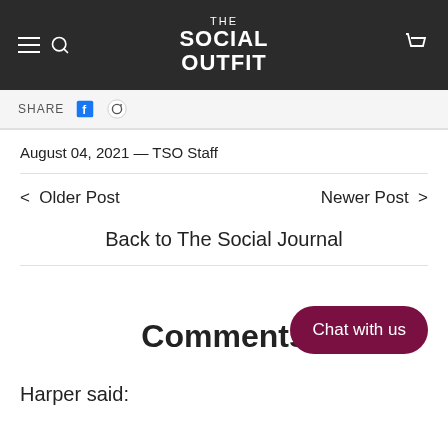THE SOCIAL OUTFIT
SHARE
August 04, 2021 — TSO Staff
< Older Post    Newer Post >
Back to The Social Journal
Comments
Chat with us
Harper said: